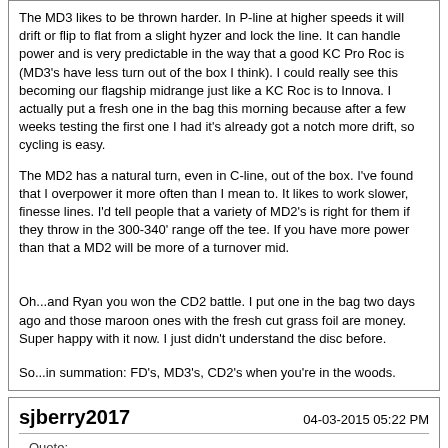The MD3 likes to be thrown harder. In P-line at higher speeds it will drift or flip to flat from a slight hyzer and lock the line. It can handle power and is very predictable in the way that a good KC Pro Roc is (MD3's have less turn out of the box I think). I could really see this becoming our flagship midrange just like a KC Roc is to Innova. I actually put a fresh one in the bag this morning because after a few weeks testing the first one I had it's already got a notch more drift, so cycling is easy.
The MD2 has a natural turn, even in C-line, out of the box. I've found that I overpower it more often than I mean to. It likes to work slower, finesse lines. I'd tell people that a variety of MD2's is right for them if they throw in the 300-340' range off the tee. If you have more power than that a MD2 will be more of a turnover mid.
Oh...and Ryan you won the CD2 battle. I put one in the bag two days ago and those maroon ones with the fresh cut grass foil are money. Super happy with it now. I just didn't understand the disc before.
So...in summation: FD's, MD3's, CD2's when you're in the woods.
sjberry2017
04-03-2015 05:22 PM
Quote: